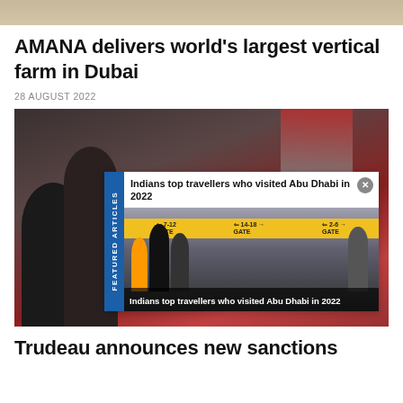[Figure (photo): Partial top image of a building or structure]
AMANA delivers world's largest vertical farm in Dubai
28 AUGUST 2022
[Figure (photo): Main photo showing people in masks with Canadian flags in background. Overlaid with a featured article popup titled 'Indians top travellers who visited Abu Dhabi in 2022' showing an airport scene with travellers.]
Trudeau announces new sanctions